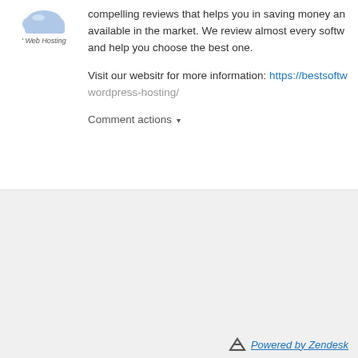[Figure (logo): Web Hosting logo with cloud icon and text 'Web Hosting']
compelling reviews that helps you in saving money and finding the best software available in the market. We review almost every software available in the market and help you choose the best one.
Visit our websitr for more information: https://bestsoftw... wordpress-hosting/
Comment actions ▾
Powered by Zendesk